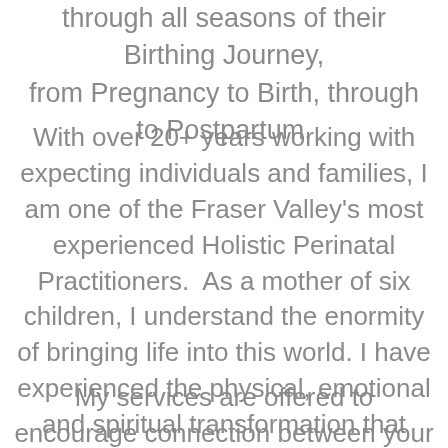through all seasons of their Birthing Journey, from Pregnancy to Birth, through to Postpartum.
With over 20+ years working with expecting individuals and families, I am one of the Fraser Valley's most experienced Holistic Perinatal Practitioners.  As a mother of six children, I understand the enormity of bringing life into this world. I have experienced the physical, emotional and spiritual transformation that takes place during the birth year, and I know how important it is to be supported.
My services are offered to encourage connection between your heart and intuition, and to nourish your whole self, so that you can move through the birth